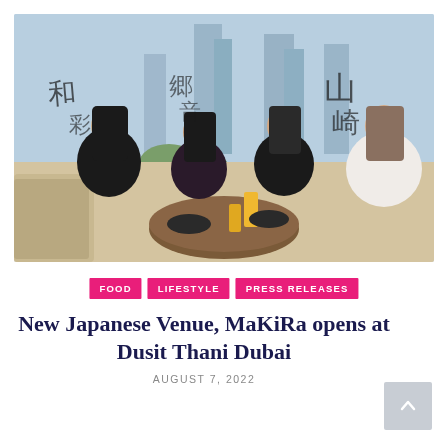[Figure (photo): Four women dining together at a Japanese restaurant, laughing and eating. Large windows with Japanese calligraphy visible in the background, with a city skyline view. Round wooden table with Japanese dishes, drinks including orange juice. Restaurant has beige booth seating.]
FOOD   LIFESTYLE   PRESS RELEASES
New Japanese Venue, MaKiRa opens at Dusit Thani Dubai
AUGUST 7, 2022